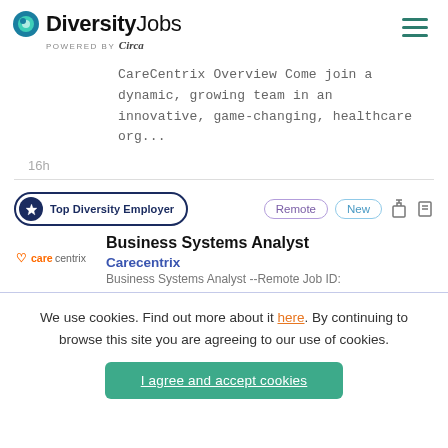[Figure (logo): DiversityJobs logo with teal/blue circle icon, bold text 'Diversity Jobs', and 'POWERED BY Circa' tagline]
CareCentrix Overview Come join a dynamic, growing team in an innovative, game-changing, healthcare org...
16h
Top Diversity Employer
Remote  New
Business Systems Analyst
Carecentrix
Business Systems Analyst --Remote Job ID:
We use cookies. Find out more about it here. By continuing to browse this site you are agreeing to our use of cookies.
I agree and accept cookies